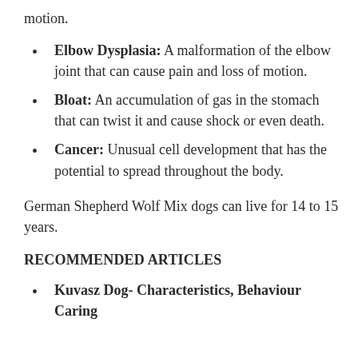motion.
Elbow Dysplasia: A malformation of the elbow joint that can cause pain and loss of motion.
Bloat: An accumulation of gas in the stomach that can twist it and cause shock or even death.
Cancer: Unusual cell development that has the potential to spread throughout the body.
German Shepherd Wolf Mix dogs can live for 14 to 15 years.
RECOMMENDED ARTICLES
Kuvasz Dog- Characteristics, Behaviour Caring